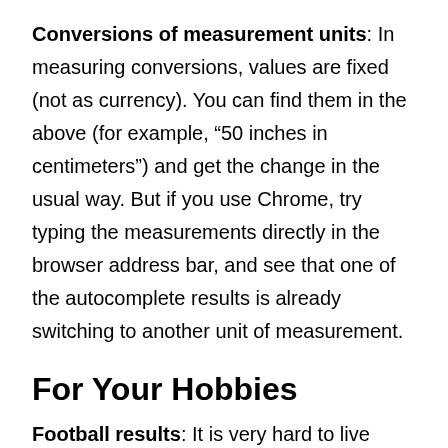Conversions of measurement units: In measuring conversions, values are fixed (not as currency). You can find them in the above (for example, “50 inches in centimeters”) and get the change in the usual way. But if you use Chrome, try typing the measurements directly in the browser address bar, and see that one of the autocomplete results is already switching to another unit of measurement.
For Your Hobbies
Football results: It is very hard to live without knowing how was your team in the Champions